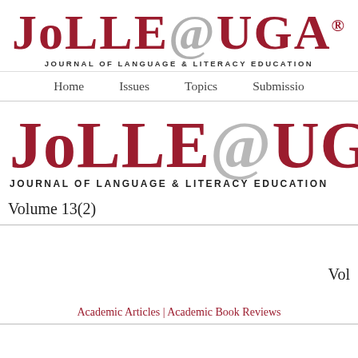[Figure (logo): JoLLE@UGA logo - Journal of Language & Literacy Education, top header version]
Home  Issues  Topics  Submissio
[Figure (logo): JoLLE@UGA logo - Journal of Language & Literacy Education, main content version]
Volume 13(2)
Vol
Academic Articles | Academic Book Reviews